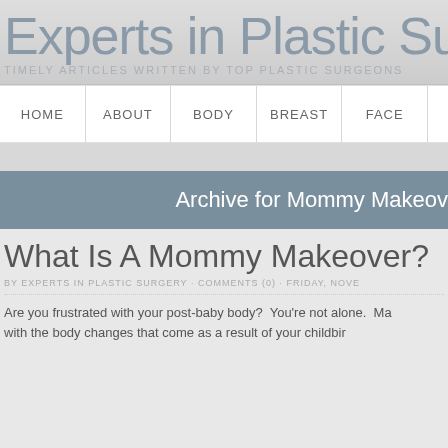Experts in Plastic Surgery
TIMELY ARTICLES WRITTEN BY TOP PLASTIC SURGEONS
HOME | ABOUT | BODY | BREAST | FACE
Archive for Mommy Makeover
What Is A Mommy Makeover?
BY EXPERTS IN PLASTIC SURGERY · COMMENTS (0) · FRIDAY, NOVE
Are you frustrated with your post-baby body?  You're not alone.  Ma with the body changes that come as a result of your childbir